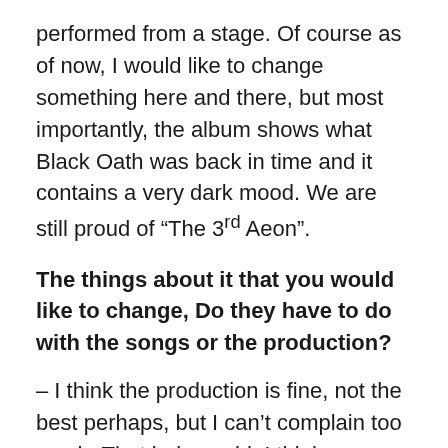performed from a stage. Of course as of now, I would like to change something here and there, but most importantly, the album shows what Black Oath was back in time and it contains a very dark mood. We are still proud of “The 3rd Aeon”.
The things about it that you would like to change, Do they have to do with the songs or the production?
– I think the production is fine, not the best perhaps, but I can’t complain too much. That being said, I think we could have worked a little more on the arrangements, but it is something that is easy to say now when our way of composing is more mature.
Moving on a little bit – how satisfied are you with your second album, “Of Qlipoth And Darkness”? Were